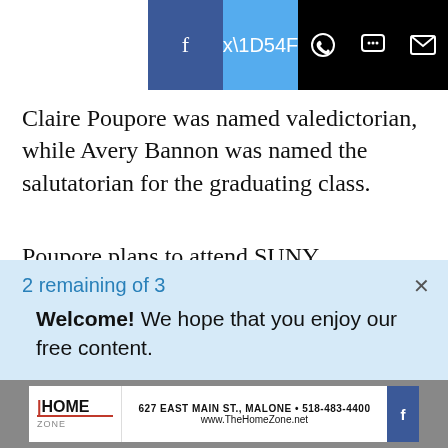[Figure (screenshot): Social media sharing bar with Facebook, Twitter, WhatsApp, message, and email icons on dark/blue background]
Claire Poupore was named valedictorian, while Avery Bannon was named the salutatorian for the graduating class.
Poupore plans to attend SUNY Binghamton in the fall and is planning to pursue a degree in biology.
“I was kind of a last-minute decider, and when I looked at Binghamton I really liked everything it
2 remaining of 3
Welcome! We hope that you enjoy our free content.
[Figure (screenshot): Home Zone advertisement banner with logo and address 627 East Main St., Malone • 518-483-4400, www.TheHomeZone.net]